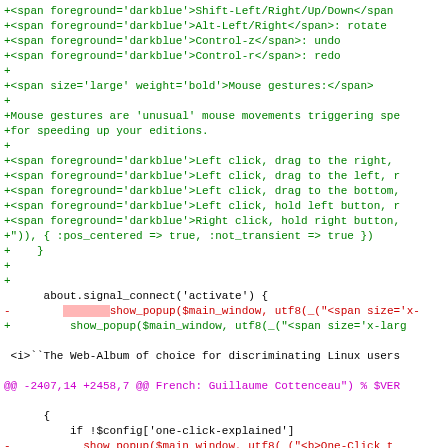Code diff showing changes to a Ruby source file with additions (green) and deletions (red), including signal_connect and show_popup calls, mouse gesture documentation, and one_click_explain_try Proc definition.